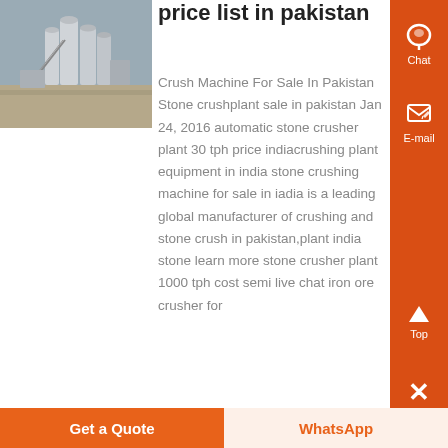[Figure (photo): Industrial stone crushing plant facility with large silos and machinery, aerial/ground view, overcast sky]
price list in pakistan
Crush Machine For Sale In Pakistan Stone crushplant sale in pakistan Jan 24, 2016 automatic stone crusher plant 30 tph price indiacrushing plant equipment in india stone crushing machine for sale in iadia is a leading global manufacturer of crushing and stone crush in pakistan,plant india stone learn more stone crusher plant 1000 tph cost semi live chat iron ore crusher for
Chat
E-mail
Top
Get a Quote
WhatsApp